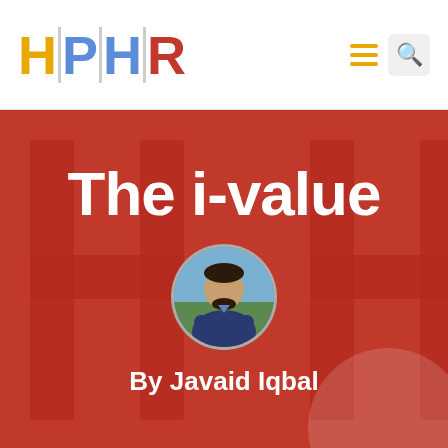[Figure (logo): HPHR logo with colored letters H, P, H, R separated by dividers, followed by hamburger menu and search icons]
The i-value
[Figure (photo): Circular portrait photo of Javaid Iqbal, a man in a blue suit jacket with arms crossed, outdoors with green background]
By Javaid Iqbal